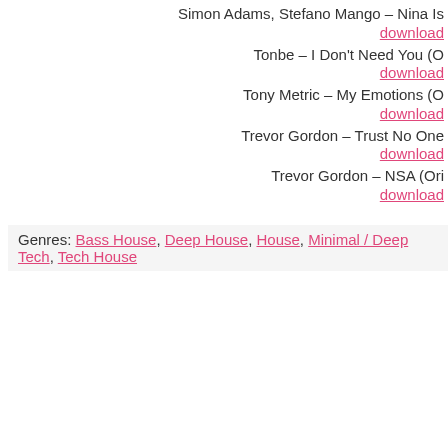Simon Adams, Stefano Mango – Nina Is...
download
Tonbe – I Don't Need You (O...
download
Tony Metric – My Emotions (O...
download
Trevor Gordon – Trust No One...
download
Trevor Gordon – NSA (Ori...
download
Genres: Bass House, Deep House, House, Minimal / Deep Tech, Tech House